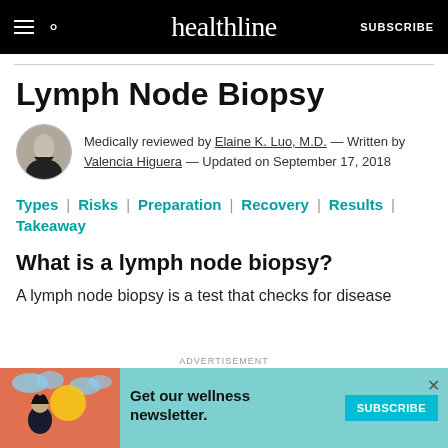healthline | SUBSCRIBE
Lymph Node Biopsy
Medically reviewed by Elaine K. Luo, M.D. — Written by Valencia Higuera — Updated on September 17, 2018
Types | Risks | Preparation | Recovery | Results | Takeaway
What is a lymph node biopsy?
A lymph node biopsy is a test that checks for disease
[Figure (illustration): Advertisement banner: wellness newsletter subscription with illustrated woman and teal subscribe button. Text: Get our wellness newsletter.]